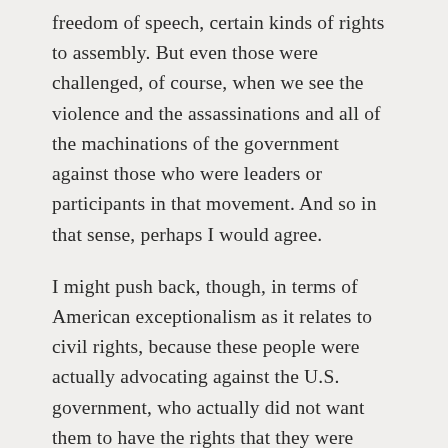freedom of speech, certain kinds of rights to assembly. But even those were challenged, of course, when we see the violence and the assassinations and all of the machinations of the government against those who were leaders or participants in that movement. And so in that sense, perhaps I would agree.
I might push back, though, in terms of American exceptionalism as it relates to civil rights, because these people were actually advocating against the U.S. government, who actually did not want them to have the rights that they were promised under the Constitution. Of course, many of us would not be free or able to speak up without the 13th and 14th